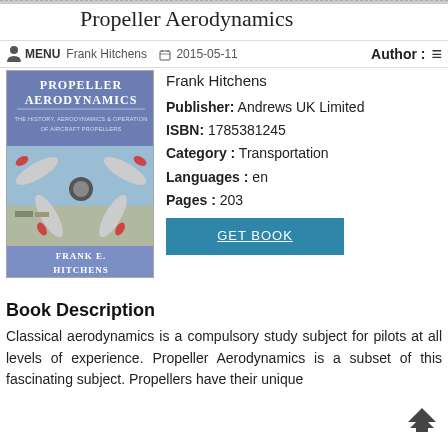Propeller Aerodynamics
MENU | Frank Hitchens | 2015-05-11 | Author: ≡
[Figure (photo): Book cover of Propeller Aerodynamics by Frank E. Hitchens, showing an aircraft propeller viewed from the front, with the text 'Propeller Aerodynamics: The History, Aerodynamics & Operation of Aircraft Propellers' and 'Frank E. Hitchens' on a blue background.]
Author: Frank Hitchens
Publisher: Andrews UK Limited
ISBN: 1785381245
Category: Transportation
Languages: en
Pages: 203
GET BOOK
Book Description
Classical aerodynamics is a compulsory study subject for pilots at all levels of experience. Propeller Aerodynamics is a subset of this fascinating subject. Propellers have their unique